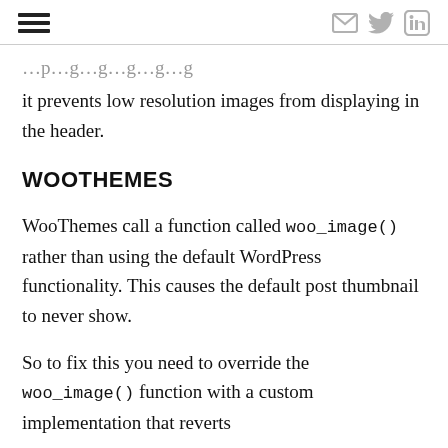[hamburger menu icon] [email icon] [twitter icon] [linkedin icon]
it prevents low resolution images from displaying in the header.
WOOTHEMES
WooThemes call a function called woo_image() rather than using the default WordPress functionality. This causes the default post thumbnail to never show.
So to fix this you need to override the woo_image() function with a custom implementation that reverts